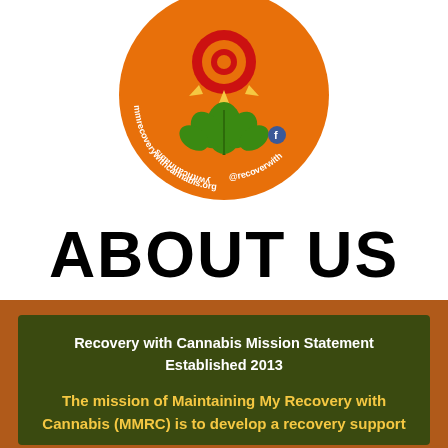[Figure (logo): Circular orange logo with cannabis leaves, red and yellow target-like center design, green cannabis leaf at bottom center, and text around the circle reading 'mmrecoverywithcannabis.org' and '@recoverwith' with a Facebook icon]
ABOUT US
Recovery with Cannabis Mission Statement
Established 2013
The mission of Maintaining My Recovery with Cannabis (MMRC) is to develop a recovery support